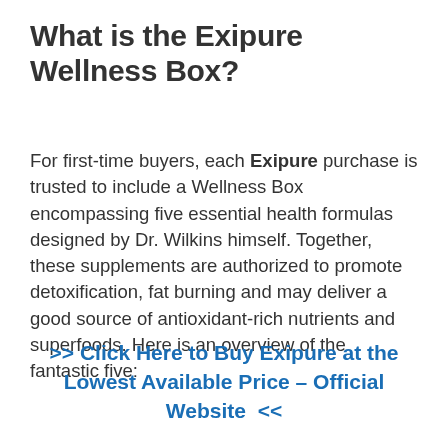What is the Exipure Wellness Box?
For first-time buyers, each Exipure purchase is trusted to include a Wellness Box encompassing five essential health formulas designed by Dr. Wilkins himself. Together, these supplements are authorized to promote detoxification, fat burning and may deliver a good source of antioxidant-rich nutrients and superfoods. Here is an overview of the fantastic five:
>> Click Here to Buy Exipure at the Lowest Available Price – Official Website  <<